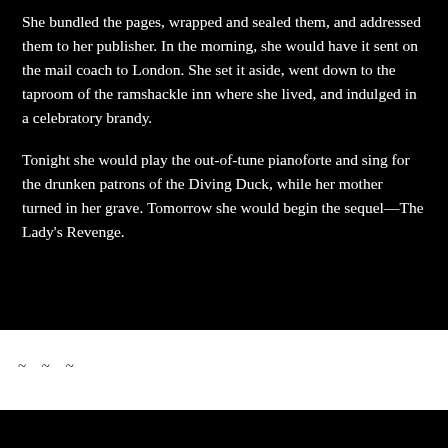She bundled the pages, wrapped and sealed them, and addressed them to her publisher. In the morning, she would have it sent on the mail coach to London. She set it aside, went down to the taproom of the ramshackle inn where she lived, and indulged in a celebratory brandy.

Tonight she would play the out-of-tune pianoforte and sing for the drunken patrons of the Diving Duck, while her mother turned in her grave. Tomorrow she would begin the sequel—The Lady's Revenge.
~ ~ ~